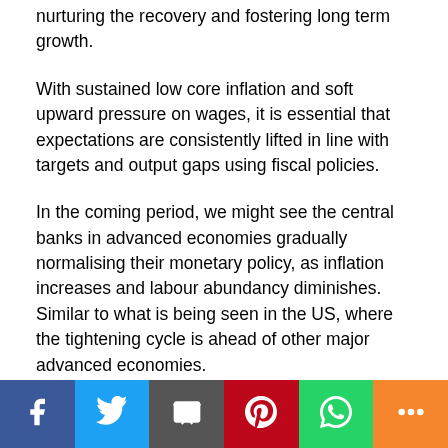nurturing the recovery and fostering long term growth.
With sustained low core inflation and soft upward pressure on wages, it is essential that expectations are consistently lifted in line with targets and output gaps using fiscal policies.
In the coming period, we might see the central banks in advanced economies gradually normalising their monetary policy, as inflation increases and labour abundancy diminishes. Similar to what is being seen in the US, where the tightening cycle is ahead of other major advanced economies.
[Figure (other): Facebook Like button showing 0 likes, and a row of social sharing buttons (Facebook, Twitter, other)]
Social share bar with icons: Facebook, Twitter, Email, Pinterest, WhatsApp, More